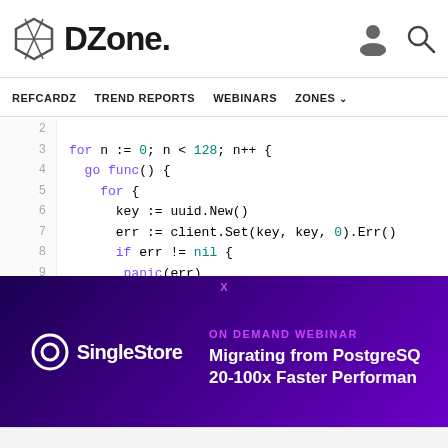DZone. REFCARDZ TREND REPORTS WEBINARS ZONES
[Figure (screenshot): Code snippet in Go language showing a for loop with goroutine, lines 2-14, with syntax highlighting on a white background]
[Figure (infographic): SingleStore advertisement banner: ON DEMAND WEBINAR - Migrating from PostgreSQL 20-100x Faster Performance]